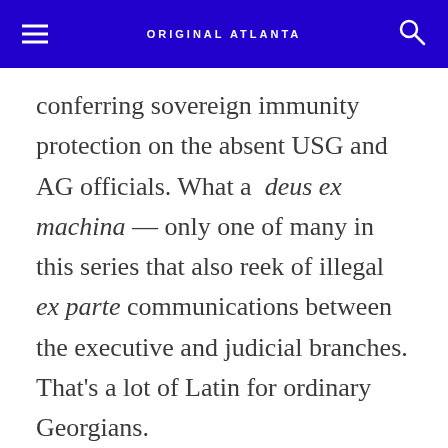ORIGINAL ATLANTA
conferring sovereign immunity protection on the absent USG and AG officials. What a deus ex machina — only one of many in this series that also reek of illegal ex parte communications between the executive and judicial branches. That's a lot of Latin for ordinary Georgians.
As letter #6 ponders: “Why so much effort to conceal the wrongdoing in the